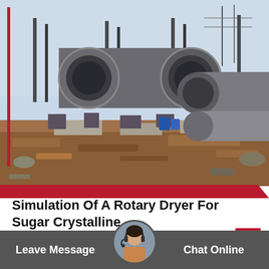[Figure (photo): Industrial rotary dryer cylinders lying on a construction site with brown dirt ground and blue sky. Multiple large grey metal cylindrical drums are visible, along with industrial equipment.]
Simulation Of A Rotary Dryer For Sugar Crystalline
Dynamic simulation of an industrial rotary dryer
dynamic simulation of an industrial rotary dryer